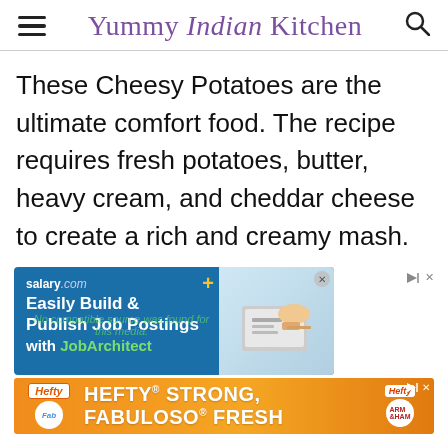Yummy Indian Kitchen
These Cheesy Potatoes are the ultimate comfort food. The recipe requires fresh potatoes, butter, heavy cream, and cheddar cheese to create a rich and creamy mash.
[Figure (other): salary.com advertisement: Easily Build & Publish Job Postings with JobArchitect, showing a person typing on a laptop]
[Figure (other): Hefty STRONG, FABULOSO FRESH advertisement banner in orange with logos]